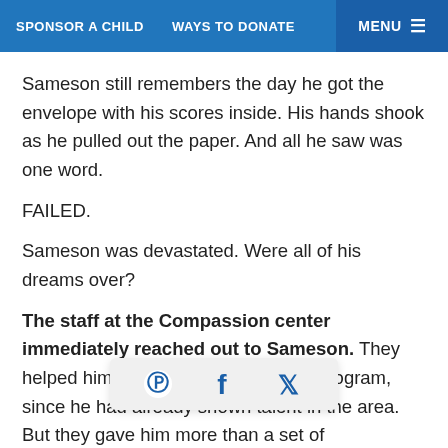SPONSOR A CHILD   WAYS TO DONATE   MENU
Sameson still remembers the day he got the envelope with his scores inside. His hands shook as he pulled out the paper. And all he saw was one word.
FAILED.
Sameson was devastated. Were all of his dreams over?
The staff at the Compassion center immediately reached out to Sameson. They helped him enroll at a woodworking program, since he had already shown talent in the area. But they gave him more than a set of skills; [social bar overlay] e promise that they would stay in